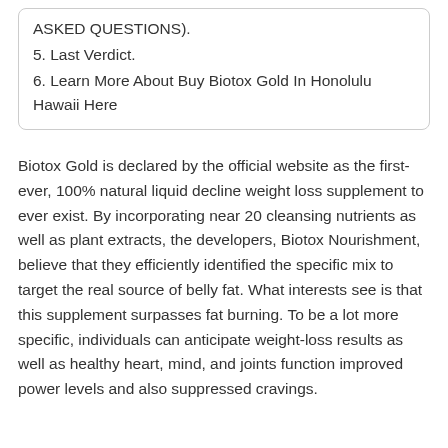ASKED QUESTIONS).
5. Last Verdict.
6. Learn More About Buy Biotox Gold In Honolulu Hawaii Here
Biotox Gold is declared by the official website as the first-ever, 100% natural liquid decline weight loss supplement to ever exist. By incorporating near 20 cleansing nutrients as well as plant extracts, the developers, Biotox Nourishment, believe that they efficiently identified the specific mix to target the real source of belly fat. What interests see is that this supplement surpasses fat burning. To be a lot more specific, individuals can anticipate weight-loss results as well as healthy heart, mind, and joints function improved power levels and also suppressed cravings.